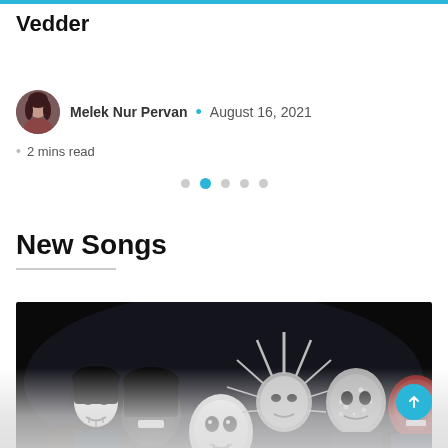Vedder
Melek Nur Pervan • August 16, 2021 • 2 mins read
New Songs
[Figure (photo): Group photo of Slipknot band members wearing their signature horror/metal masks against a dark background]